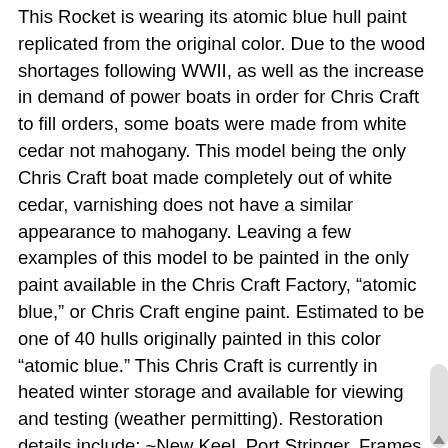This Rocket is wearing its atomic blue hull paint replicated from the original color. Due to the wood shortages following WWII, as well as the increase in demand of power boats in order for Chris Craft to fill orders, some boats were made from white cedar not mahogany. This model being the only Chris Craft boat made completely out of white cedar, varnishing does not have a similar appearance to mahogany. Leaving a few examples of this model to be painted in the only paint available in the Chris Craft Factory, “atomic blue,” or Chris Craft engine paint. Estimated to be one of 40 hulls originally painted in this color “atomic blue.” This Chris Craft is currently in heated winter storage and available for viewing and testing (weather permitting). Restoration details include: ~New Keel, Port Stringer, Frames 2017-2018 ~Refastened Chines ~Refastened Hull Sides ~New “No Soak” 5200 Bottom ~New Rayco Fuel Tank ~Painted Hull and Deck in Period Correct Chris Craft Blue ~Chrome Replated ~Stainless Trim Polished ~New Upholstery ~New Windshield Glass ~Complete Rewire